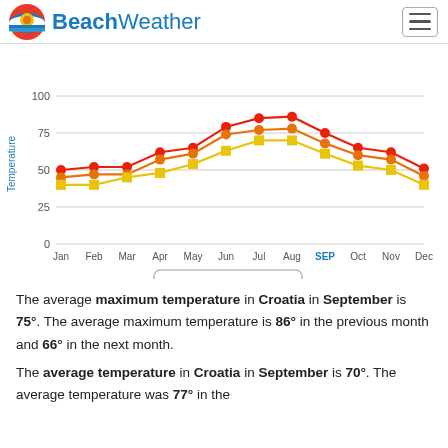BeachWeather
[Figure (line-chart): Temperature - Croatia]
The average maximum temperature in Croatia in September is 75°. The average maximum temperature is 86° in the previous month and 66° in the next month.
The average temperature in Croatia in September is 70°. The average temperature was 77° in the...